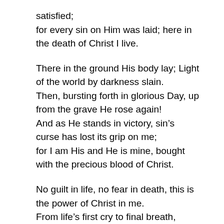satisfied;
for every sin on Him was laid; here in the death of Christ I live.
There in the ground His body lay; Light of the world by darkness slain.
Then, bursting forth in glorious Day, up from the grave He rose again!
And as He stands in victory, sin’s curse has lost its grip on me;
for I am His and He is mine, bought with the precious blood of Christ.
No guilt in life, no fear in death, this is the power of Christ in me.
From life’s first cry to final breath, Jesus commands my destiny.
No power of hell, no scheme of man can ever pluck me from His hand;
‘til He returns or calls me home, here in the power of